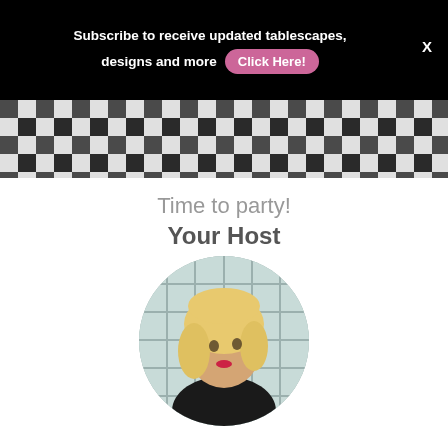Subscribe to receive updated tablescapes, designs and more   Click Here!   X
[Figure (photo): Black and white checkered/gingham fabric pattern, partially visible at top of main content area]
Time to party!
Your Host
[Figure (photo): Circular portrait photo of a blonde woman wearing black outfit, standing in front of a decorative glass block or window backdrop]